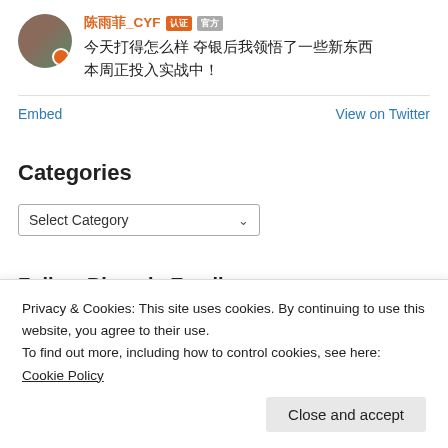[Figure (screenshot): Twitter/social media post with avatar photo, username 陈雨菲_CYF with orange and gray badges, tweet text in Chinese]
陈雨菲_CYF 今天打得怎么样 夺银后我领悟了一些新东西 本周正投入实战中！
Embed    View on Twitter
Categories
Select Category
Follow Blog via Email
Privacy & Cookies: This site uses cookies. By continuing to use this website, you agree to their use.
To find out more, including how to control cookies, see here: Cookie Policy
Close and accept